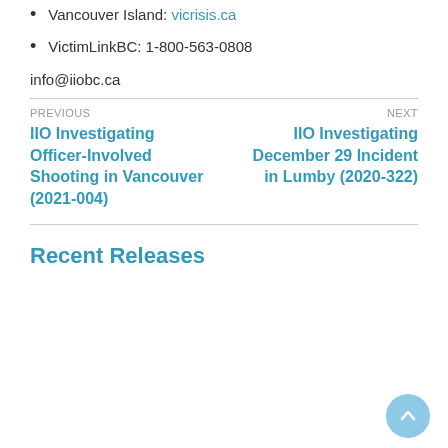Vancouver Island: vicrisis.ca
VictimLinkBC: 1-800-563-0808
info@iiobc.ca
PREVIOUS
IIO Investigating Officer-Involved Shooting in Vancouver (2021-004)
NEXT
IIO Investigating December 29 Incident in Lumby (2020-322)
Recent Releases